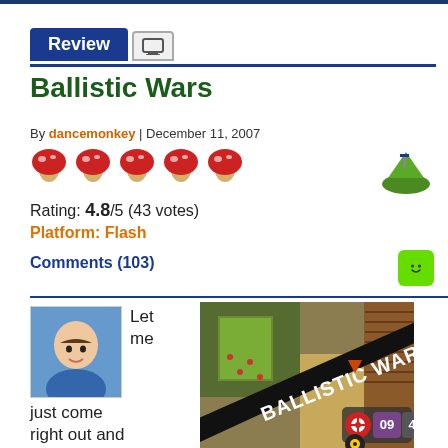Review
Ballistic Wars
By dancemonkey | December 11, 2007
[Figure (illustration): Five red mushroom rating icons in a row]
Rating: 4.8/5 (43 votes)
Platform: Flash
Comments (103)
[Figure (photo): Avatar photo of reviewer (smiling man) next to partial review text: Let me just come right out and say it: Ballistic Wars...]
[Figure (screenshot): Ballistic Wars game screenshot showing game title screen with game map, tanks and HUD elements]